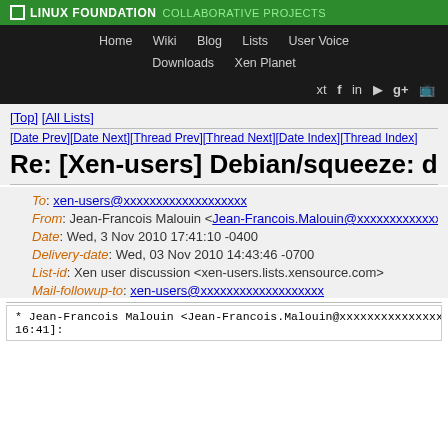LINUX FOUNDATION COLLABORATIVE PROJECTS
Home  Wiki  Blog  Lists  User Voice  Downloads  Xen Planet
[Top] [All Lists]
[Date Prev][Date Next][Thread Prev][Thread Next][Date Index][Thread Index]
Re: [Xen-users] Debian/squeeze: domU...
To: xen-users@xxxxxxxxxxxxxxxxxxx
From: Jean-Francois Malouin <Jean-Francois.Malouin@xxxxxxxxxxxxxxxxxx>
Date: Wed, 3 Nov 2010 17:41:10 -0400
Delivery-date: Wed, 03 Nov 2010 14:43:46 -0700
List-id: Xen user discussion <xen-users.lists.xensource.com>
Mail-followup-to: xen-users@xxxxxxxxxxxxxxxxxxx
* Jean-Francois Malouin <Jean-Francois.Malouin@xxxxxxxxxxxxxxxx 16:41]: